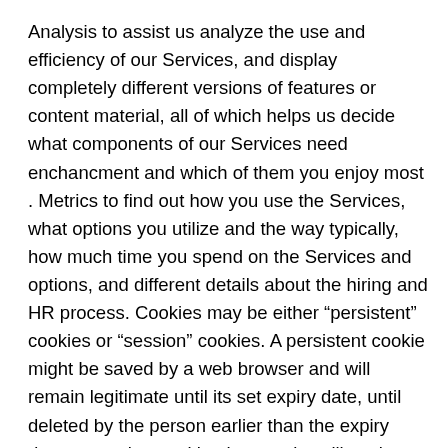Analysis to assist us analyze the use and efficiency of our Services, and display completely different versions of features or content material, all of which helps us decide what components of our Services need enchancment and which of them you enjoy most . Metrics to find out how you use the Services, what options you utilize and the way typically, how much time you spend on the Services and options, and different details about the hiring and HR process. Cookies may be either “persistent” cookies or “session” cookies. A persistent cookie might be saved by a web browser and will remain legitimate until its set expiry date, until deleted by the person earlier than the expiry date; a session cookie, then again, will expire on the finish of the consumer session, when the web browser is closed. Our retention policies and procedures are designed to assist guarantee our compliance with authorized obligations and allow Customers to direct their own personal data retention